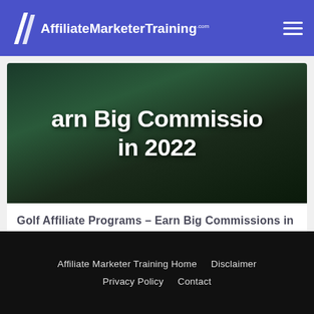AffiliateMarketerTraining.com
[Figure (screenshot): Dark background image with white bold text reading 'arn Big Commissio in 2022' — partial view of a golf affiliate programs article banner]
Golf Affiliate Programs – Earn Big Commissions in 2022
Affiliate Marketer Training Home   Disclaimer   Privacy Policy   Contact